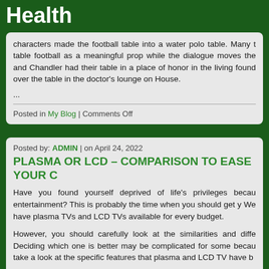Health
characters made the football table into a water polo table. Many t table football as a meaningful prop while the dialogue moves the and Chandler had their table in a place of honor in the living found over the table in the doctor's lounge on House.
...
Posted in My Blog | Comments Off
Posted by: ADMIN | on April 24, 2022
PLASMA OR LCD – COMPARISON TO EASE YOUR C
Have you found yourself deprived of life's privileges becau entertainment? This is probably the time when you should get y We have plasma TVs and LCD TVs available for every budget.
However, you should carefully look at the similarities and diffe Deciding which one is better may be complicated for some becau take a look at the specific features that plasma and LCD TV have b
Plasma is actually the first to come up with big screen televisio